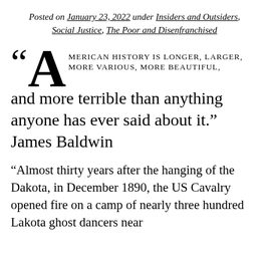Posted on January 23, 2022 under Insiders and Outsiders, Social Justice, The Poor and Disenfranchised
"American history is longer, larger, more various, more beautiful, and more terrible than anything anyone has ever said about it." James Baldwin
“Almost thirty years after the hanging of the Dakota, in December 1890, the US Cavalry opened fire on a camp of nearly three hundred Lakota ghost dancers near